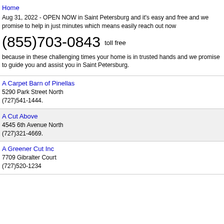Home
Aug 31, 2022 - OPEN NOW in Saint Petersburg and it's easy and free and we promise to help in just minutes which means easily reach out now
(855)703-0843 toll free
because in these challenging times your home is in trusted hands and we promise to guide you and assist you in Saint Petersburg.
A Carpet Barn of Pinellas
5290 Park Street North
(727)541-1444.
A Cut Above
4545 6th Avenue North
(727)321-4669.
A Greener Cut Inc
7709 Gibralter Court
(727)520-1234